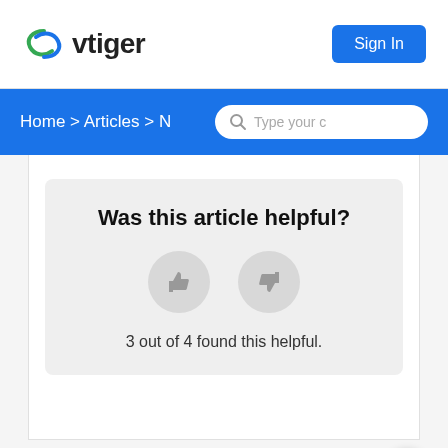vtiger | Sign In
Home > Articles > N | Type your c
[Figure (other): Was this article helpful? feedback widget with thumbs up and thumbs down buttons and text '3 out of 4 found this helpful.']
3 out of 4 found this helpful.
Comments